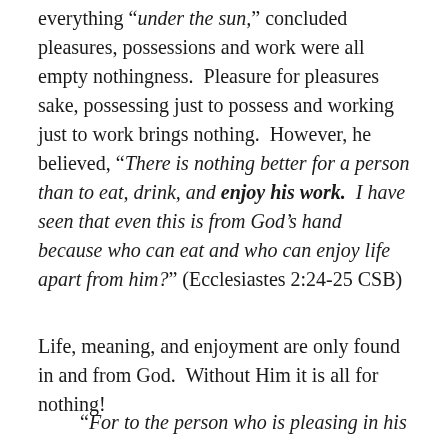everything “under the sun,” concluded pleasures, possessions and work were all empty nothingness.  Pleasure for pleasures sake, possessing just to possess and working just to work brings nothing.  However, he believed, “There is nothing better for a person than to eat, drink, and enjoy his work.  I have seen that even this is from God’s hand because who can eat and who can enjoy life apart from him?” (Ecclesiastes 2:24-25 CSB)
Life, meaning, and enjoyment are only found in and from God.  Without Him it is all for nothing!
“For to the person who is pleasing in his